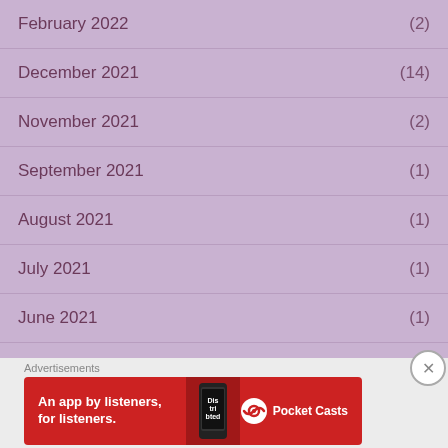February 2022 (2)
December 2021 (14)
November 2021 (2)
September 2021 (1)
August 2021 (1)
July 2021 (1)
June 2021 (1)
May 2021 (1)
[Figure (screenshot): Pocket Casts advertisement banner: 'An app by listeners, for listeners.' with Pocket Casts logo and phone image on red background]